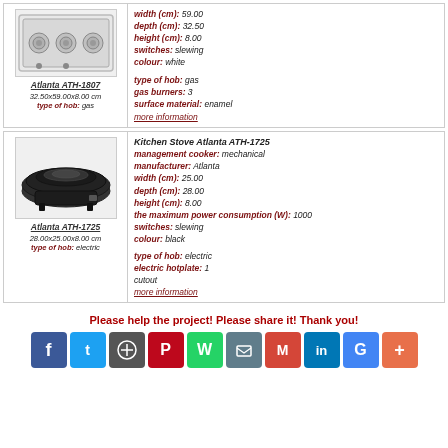[Figure (photo): Gas stove Atlanta ATH-1807, white, 3 burners]
Atlanta ATH-1807
32.50x59.00x8.00 cm
type of hob: gas
width (cm): 59.00
depth (cm): 32.50
height (cm): 8.00
switches: slewing
colour: white

type of hob: gas
gas burners: 3
surface material: enamel
more information
[Figure (photo): Electric single hotplate Atlanta ATH-1725, black]
Atlanta ATH-1725
28.00x25.00x8.00 cm
type of hob: electric
Kitchen Stove Atlanta ATH-1725
management cooker: mechanical
manufacturer: Atlanta
width (cm): 25.00
depth (cm): 28.00
height (cm): 8.00
the maximum power consumption (W): 1000
switches: slewing
colour: black

type of hob: electric
electric hotplate: 1
cutout
more information
Please help the project! Please share it! Thank you!